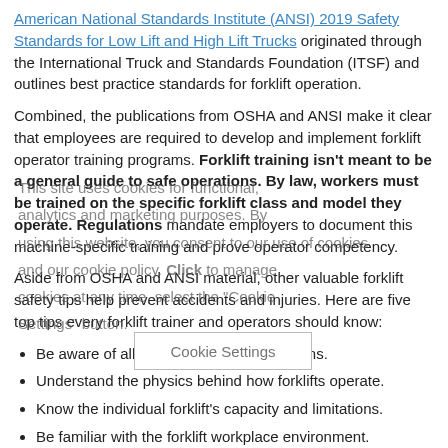American National Standards Institute (ANSI) 2019 Safety Standards for Low Lift and High Lift Trucks originated through the International Truck and Standards Foundation (ITSF) and outlines best practice standards for forklift operation.
Combined, the publications from OSHA and ANSI make it clear that employees are required to develop and implement forklift operator training programs. Forklift training isn't meant to be a general guide to safe operations. By law, workers must be trained on the specific forklift class and model they operate. Regulations mandate employers to document this machine-specific training and prove operator competency.
Aside from OSHA and ANSI material, other valuable forklift safety tips help prevent accidents and injuries. Here are five top tips every forklift trainer and operators should know:
Be aware of all forklift operating regulations.
Understand the physics behind how forklifts operate.
Know the individual forklift's capacity and limitations.
Be familiar with the forklift workplace environment.
Receive thorough forklift operator training and refresh every three years.